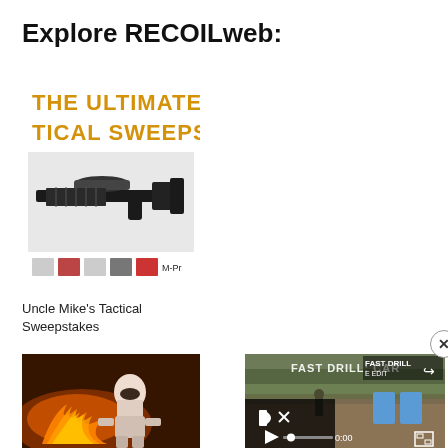Explore RECOILweb:
[Figure (photo): Uncle Mike's Tactical Sweepstakes promotional image showing an AR-style rifle with scope, logos, and bold text 'THE ULTIMATE TACTICAL SWEEPSTAKES' on a white background]
Uncle Mike's Tactical Sweepstakes
[Figure (photo): Dark scene showing a stormtrooper figure with a large fire/flame effect, dramatic orange lighting]
[Figure (screenshot): Video player showing 'FAST DRILL: CAR' with muted speaker icon, play button, progress bar at 0:00, and target silhouettes visible in background outdoor scene]